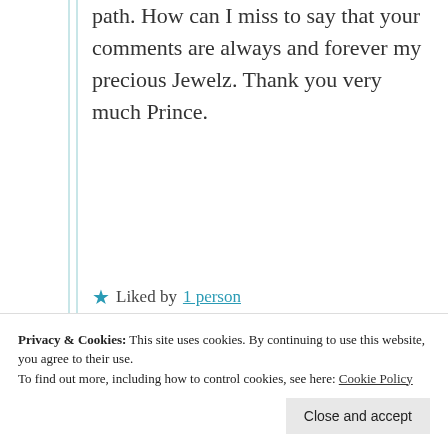path. How can I miss to say that your comments are always and forever my precious Jewelz. Thank you very much Prince.
★ Liked by 1 person
Log in to Reply
[Figure (illustration): Golden/brown avatar icon for user mildredprince with username label to the right]
We all cry sometimes or
Privacy & Cookies: This site uses cookies. By continuing to use this website, you agree to their use.
To find out more, including how to control cookies, see here: Cookie Policy